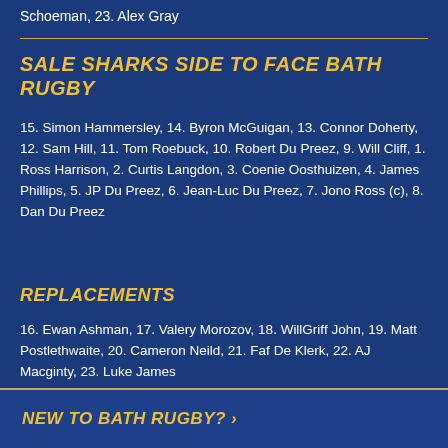Schoeman, 23. Alex Gray
SALE SHARKS SIDE TO FACE BATH RUGBY
15. Simon Hammersley, 14. Byron McGuigan, 13. Connor Doherty, 12. Sam Hill, 11. Tom Roebuck, 10. Robert Du Preez, 9. Will Cliff, 1. Ross Harrison, 2. Curtis Langdon, 3. Coenie Oosthuizen, 4. James Phillips, 5. JP Du Preez, 6. Jean-Luc Du Preez, 7. Jono Ross (c), 8. Dan Du Preez
REPLACEMENTS
16. Ewan Ashman, 17. Valery Morozov, 18. WillGriff John, 19. Matt Postlethwaite, 20. Cameron Neild, 21. Faf De Klerk, 22. AJ Macginty, 23. Luke James
NEW TO BATH RUGBY? >